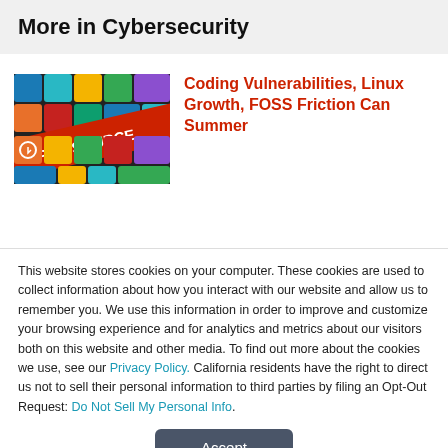More in Cybersecurity
[Figure (photo): Colorful keyboard keys with 'OPEN SOURCE' text visible, in red, orange, green, teal colors]
Coding Vulnerabilities, Linux Growth, FOSS Friction Can Summer
This website stores cookies on your computer. These cookies are used to collect information about how you interact with our website and allow us to remember you. We use this information in order to improve and customize your browsing experience and for analytics and metrics about our visitors both on this website and other media. To find out more about the cookies we use, see our Privacy Policy. California residents have the right to direct us not to sell their personal information to third parties by filing an Opt-Out Request: Do Not Sell My Personal Info.
Accept